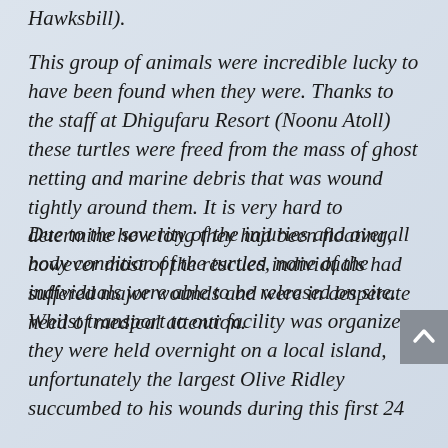Hawksbill).
This group of animals were incredible lucky to have been found when they were. Thanks to the staff at Dhigufaru Resort (Noonu Atoll) these turtles were freed from the mass of ghost netting and marine debris that was wound tightly around them. It is very hard to determine how long they had been floating, however most of the rescued individuals had suffered major wounds and were in desperate need of medical attention.
Due to the severity of the injuries and overall body condition of the turtles, none of the individuals were able to be released on site. Whilst transport to our facility was organized they were held overnight on a local island, unfortunately the largest Olive Ridley succumbed to his wounds during this first 24